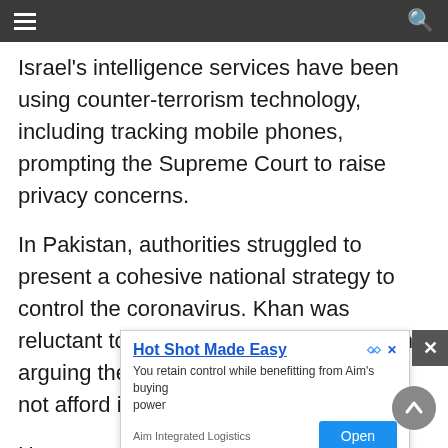Israel's intelligence services have been using counter-terrorism technology, including tracking mobile phones, prompting the Supreme Court to raise privacy concerns.
In Pakistan, authorities struggled to present a cohesive national strategy to control the coronavirus. Khan was reluctant to call for a sweeping lockdown, arguing the impoverished country could not afford it.
He a... Paki... push... ues.
[Figure (screenshot): Advertisement overlay: 'Hot Shot Made Easy' with text 'You retain control while benefitting from Aim's buying power', company name 'Aim Integrated Logistics', and an 'Open' button.]